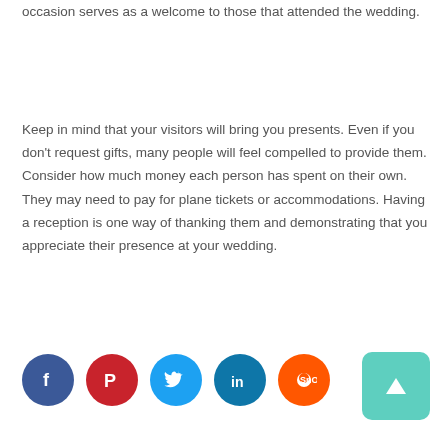occasion serves as a welcome to those that attended the wedding.
Keep in mind that your visitors will bring you presents. Even if you don't request gifts, many people will feel compelled to provide them. Consider how much money each person has spent on their own. They may need to pay for plane tickets or accommodations. Having a reception is one way of thanking them and demonstrating that you appreciate their presence at your wedding.
[Figure (infographic): Social media share icons: Facebook (blue circle), Pinterest (red circle), Twitter (cyan circle), LinkedIn (dark blue circle), Reddit (orange circle). Plus a teal scroll-to-top button with upward arrow on the right.]